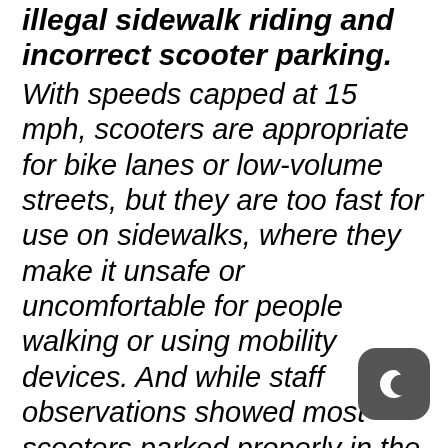illegal sidewalk riding and incorrect scooter parking.
With speeds capped at 15 mph, scooters are appropriate for bike lanes or low-volume streets, but they are too fast for use on sidewalks, where they make it unsafe or uncomfortable for people walking or using mobility devices. And while staff observations showed most scooters parked properly in the sidewalk furnishing zone, improperly parked scooters negatively impacted accessibility and created a hazard for people with visual impairment.